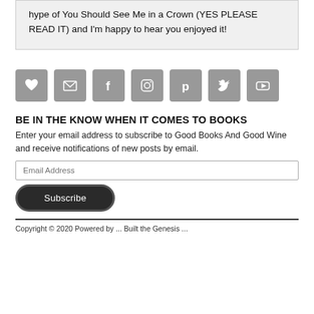hype of You Should See Me in a Crown (YES PLEASE READ IT) and I'm happy to hear you enjoyed it!
[Figure (other): Row of 7 social media icon buttons (heart/Bloglovin, email, Facebook, Instagram, Pinterest, Twitter, YouTube) as grey rounded squares]
BE IN THE KNOW WHEN IT COMES TO BOOKS
Enter your email address to subscribe to Good Books And Good Wine and receive notifications of new posts by email.
Email Address
Subscribe
Copyright © 2020 Powered by ... Built the Genesis ...